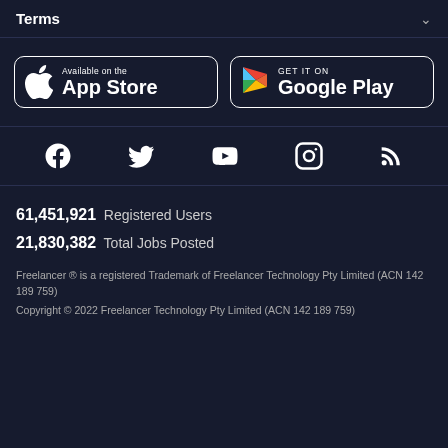Terms
[Figure (logo): App Store and Google Play download buttons]
[Figure (infographic): Social media icons: Facebook, Twitter, YouTube, Instagram, RSS]
61,451,921  Registered Users
21,830,382  Total Jobs Posted
Freelancer ® is a registered Trademark of Freelancer Technology Pty Limited (ACN 142 189 759)
Copyright © 2022 Freelancer Technology Pty Limited (ACN 142 189 759)